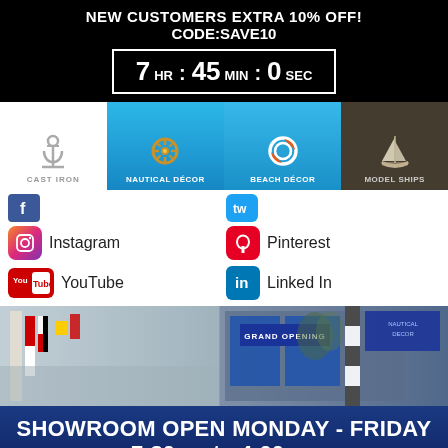NEW CUSTOMERS EXTRA 10% OFF! CODE:SAVE10
7 HR : 45 MIN : 0 SEC
[Figure (infographic): Navigation bar with four categories: CAST IRON (anchor icon), NAUTICAL DÉCOR (ship wheel icon, blue background), BEACH DÉCOR (life ring icon, blue background), MODEL SHIPS (sailboat icon, brown background)]
[Figure (infographic): Social media icons grid: Facebook, Instagram, YouTube on left; Pinterest, LinkedIn on right]
[Figure (photo): Store interior and exterior photos showing nautical decor showroom with Grand Opening sign]
SHOWROOM OPEN MONDAY - FRIDAY
7:30am to 4:00pm
Page you are viewing:
Buy Floor Standing Brass/Leather Harbor Master Telescope 50" - Nautical Decor